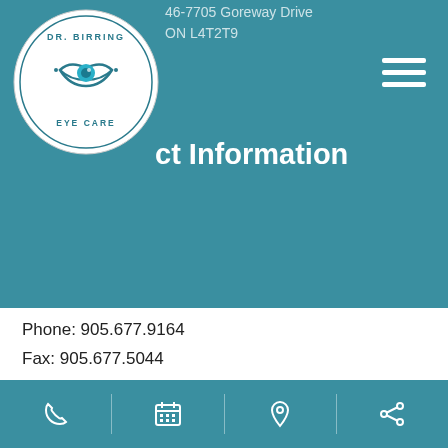46-7705 Goreway Drive, ON L4T2T9
[Figure (logo): Dr. Birring Eye Care circular logo with stylized eye graphic]
ct Information
Phone: 905.677.9164
Fax: 905.677.5044
Email: info@birringeyecare.com
Hours of Operation
Monday: 11:00 AM- 6:00 PM
Tuesday: 11:00 AM- 6:00 PM
Wednesday: 11:00 AM- 6:00 PM
Phone | Calendar | Location | Share icons